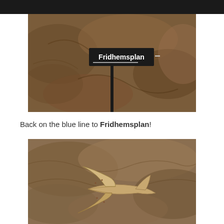[Figure (photo): Photo of a subway/metro station sign reading 'Fridhemsplan' on a black sign post, against a rocky cave-like stone wall background in earthy brown tones.]
Back on the blue line to Fridhemsplan!
[Figure (photo): Photo of a wooden model airplane/bird sculpture mounted on the same rocky cave-like stone wall background in earthy brown tones, viewed from below at an angle.]